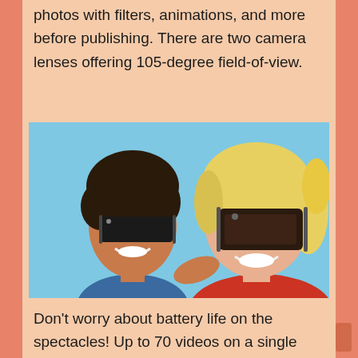photos with filters, animations, and more before publishing. There are two camera lenses offering 105-degree field-of-view.
[Figure (photo): Two women smiling and wearing Snapchat Spectacles sunglasses against a light blue background. One has dark curly hair and wears a blue top; the other has blonde hair and wears a red top.]
Don't worry about battery life on the spectacles! Up to 70 videos on a single charge can be provided by Spectacles 2. And with 4GB of internal storage, you can store up to 150 videos or 3,000 photos. And if charging is less, you